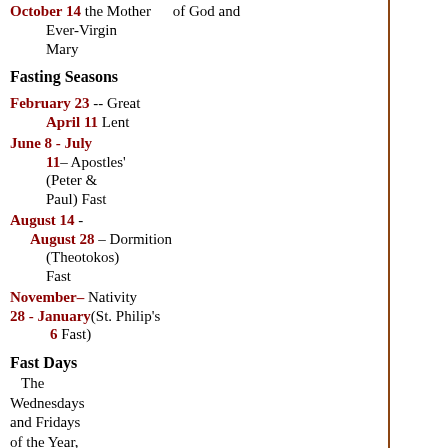October 14 the Mother of God and Ever-Virgin Mary
Fasting Seasons
February 23 -- Great April 11 Lent
June 8 - July 11 – Apostles' (Peter & Paul) Fast
August 14 - August 28 – Dormition (Theotokos) Fast
November 28 - January 6 – Nativity (St. Philip's Fast)
Fast Days
The Wednesdays and Fridays of the Year, except for Fast-Free Weeks
January 18 – Kreschensky sochelnik (The Eve of Theophany)